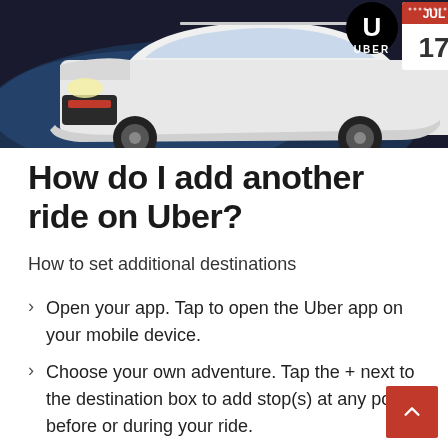[Figure (photo): Hero image showing a white car (Chevrolet Cruze style) with Uber logo and a calendar showing July 17, on a dark background.]
How do I add another ride on Uber?
How to set additional destinations
Open your app. Tap to open the Uber app on your mobile device.
Choose your own adventure. Tap the + next to the destination box to add stop(s) at any point before or during your ride.
Change on the go.